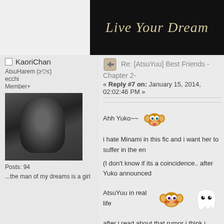[Figure (screenshot): Dark banner image with text 'Live Your Dream' in cursive/italic font over a dark background with a partial view of a person]
KaoriChan
AtsuHarem (≥▽≤)
ecchi
Member+
[Figure (photo): Black and white avatar photo of a person with dark hair]
Posts: 94
...the man of my dreams is a girl
Re: [AtsuYuu] Best Friends -Chapter 2-
« Reply #7 on: January 15, 2014, 02:02:46 PM »
Ahh Yuko~~
i hate Minami in this fic and i want her to suffer in the en
(I don't know if its a coincidence.. after Yuko announced
AtsuYuu in real life
after i read about that rumor i think i more AtsuYuu now
And i want more AtsuYuu Fic.
Can't wait for the next update~~